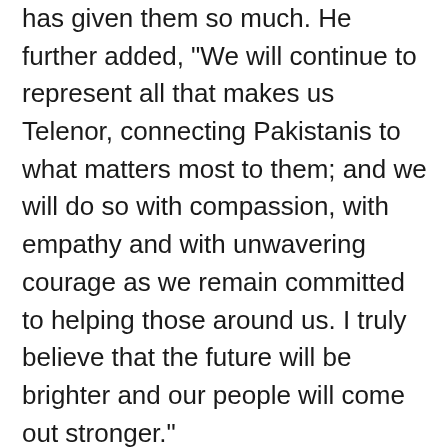has given them so much. He further added, “We will continue to represent all that makes us Telenor, connecting Pakistanis to what matters most to them; and we will do so with compassion, with empathy and with unwavering courage as we remain committed to helping those around us. I truly believe that the future will be brighter and our people will come out stronger.”
Telenor Microfinance Bank and Pakistan Bait-ul-Mal have expanded their partnershiptowards supporting widows and differently-abled persons through Easypaisa. The Bank has also collaborated with Zakat